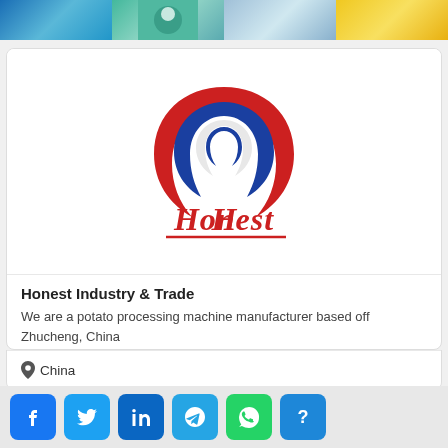[Figure (photo): Top banner strip with four segments: blue abstract pattern, teal with a person, light blue with arms, and yellow honeycomb/corn pattern]
[Figure (logo): Honest Industry & Trade logo: circular emblem with red and blue swoosh shapes forming a stylized 'H', with the word 'Honest' in red script below]
Honest Industry & Trade
We are a potato processing machine manufacturer based off Zhucheng, China
China
[Figure (infographic): Social media icon buttons: Facebook, Twitter, LinkedIn, Telegram, WhatsApp, and a question mark button]